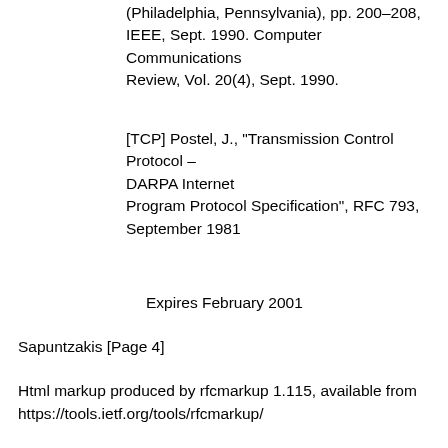(Philadelphia, Penn­sylvania), pp. 200–208, IEEE, Sept. 1990. Computer Communications Review, Vol. 20(4), Sept. 1990.
[TCP] Postel, J., “Transmission Control Protocol – DARPA Internet Program Protocol Specification”, RFC 793, September 1981
Expires February 2001
Sapuntzakis [Page 4]
Html markup produced by rfcmarkup 1.115, available from https://tools.ietf.org/tools/rfcmarkup/